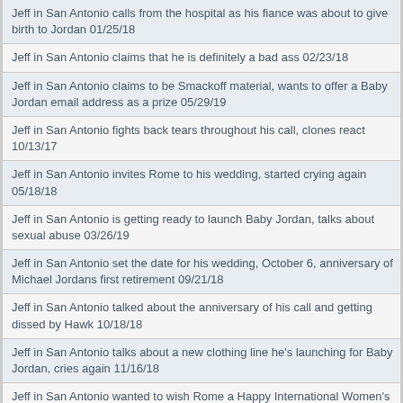Jeff in San Antonio calls from the hospital as his fiance was about to give birth to Jordan 01/25/18
Jeff in San Antonio claims that he is definitely a bad ass 02/23/18
Jeff in San Antonio claims to be Smackoff material, wants to offer a Baby Jordan email address as a prize 05/29/19
Jeff in San Antonio fights back tears throughout his call, clones react 10/13/17
Jeff in San Antonio invites Rome to his wedding, started crying again 05/18/18
Jeff in San Antonio is getting ready to launch Baby Jordan, talks about sexual abuse 03/26/19
Jeff in San Antonio set the date for his wedding, October 6, anniversary of Michael Jordans first retirement 09/21/18
Jeff in San Antonio talked about the anniversary of his call and getting dissed by Hawk 10/18/18
Jeff in San Antonio talks about a new clothing line he's launching for Baby Jordan, cries again 11/16/18
Jeff in San Antonio wanted to wish Rome a Happy International Women's Day 03/08/19
Jeff in San Antonio wants everyone to know that he's still a badass 01/25/19
Jeff in SoCal - Nooch is malnourished, WNBA on CBS, got run for crank blast 05/10/19
Jeff in SoCal breaks down the viral video from the Tennessee vs. Vanderbilt women's basketball game 02/07/19
Jeff in SoCal breaks down the WNBA, gets run 10/05/17